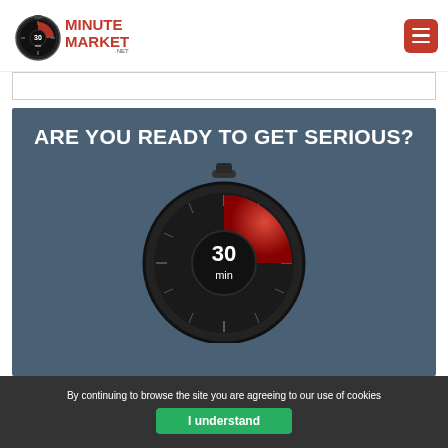[Figure (logo): 30 Minute Marketing .net logo with stopwatch icon and red/black text]
[Figure (illustration): Red hamburger menu button (three white lines on red rounded square background)]
[Figure (illustration): Hero section with dark blue-grey background, large bold white uppercase text 'ARE YOU READY TO GET SERIOUS?' and a stopwatch graphic showing '30 min' in red and black]
By continuing to browse the site you are agreeing to our use of cookies
I understand